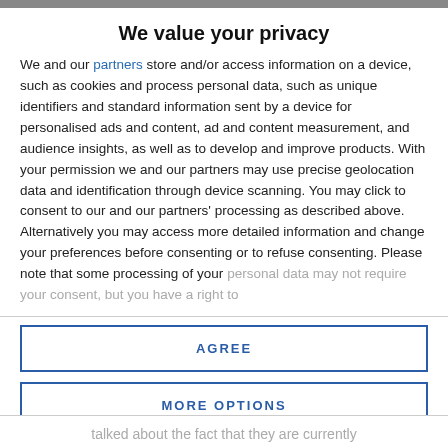We value your privacy
We and our partners store and/or access information on a device, such as cookies and process personal data, such as unique identifiers and standard information sent by a device for personalised ads and content, ad and content measurement, and audience insights, as well as to develop and improve products. With your permission we and our partners may use precise geolocation data and identification through device scanning. You may click to consent to our and our partners' processing as described above. Alternatively you may access more detailed information and change your preferences before consenting or to refuse consenting. Please note that some processing of your personal data may not require your consent, but you have a right to
AGREE
MORE OPTIONS
talked about the fact that they are currently